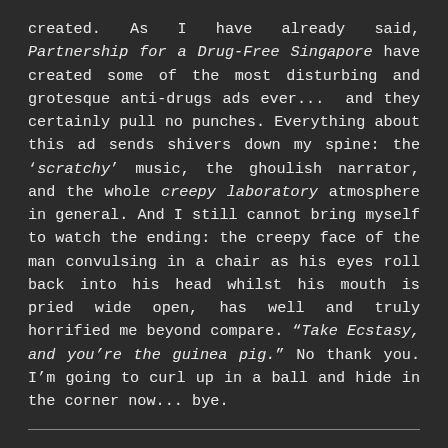created. As I have already said, Partnership for a Drug-Free Singapore have created some of the most disturbing and grotesque anti-drugs ads ever... and they certainly pull no punches. Everything about this ad sends shivers down my spine: the 'scratchy' music, the ghoulish narrator, and the whole creepy laboratory atmosphere in general. And I still cannot bring myself to watch the ending: the creepy face of the man convulsing in a chair as his eyes roll back into his head whilst his mouth is pried wide open, has well and truly horrified me beyond compare. "Take Ecstasy, and you're the guinea pig." No thank you. I'm going to curl up in a ball and hide in the corner now... bye.